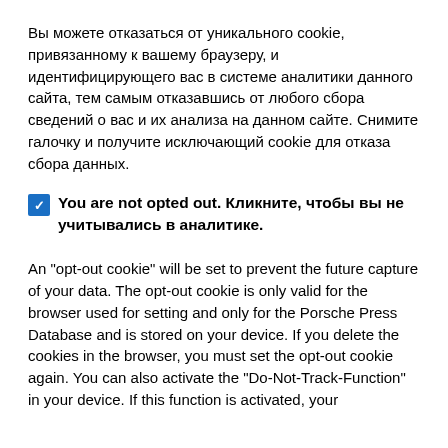Вы можете отказаться от уникального cookie, привязанному к вашему браузеру, и идентифицирующего вас в системе аналитики данного сайта, тем самым отказавшись от любого сбора сведений о вас и их анализа на данном сайте. Снимите галочку и получите исключающий cookie для отказа сбора данных.
You are not opted out. Кликните, чтобы вы не учитывались в аналитике.
An "opt-out cookie" will be set to prevent the future capture of your data. The opt-out cookie is only valid for the browser used for setting and only for the Porsche Press Database and is stored on your device. If you delete the cookies in the browser, you must set the opt-out cookie again. You can also activate the "Do-Not-Track-Function" in your device. If this function is activated, your